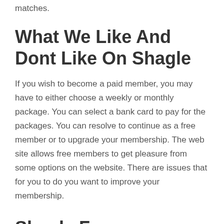matches.
What We Like And Dont Like On Shagle
If you wish to become a paid member, you may have to either choose a weekly or monthly package. You can select a bank card to pay for the packages. You can resolve to continue as a free member or to upgrade your membership. The web site allows free members to get pleasure from some options on the website. There are issues that for you to do you want to improve your membership.
Shagle Faq
We additionally help you choose hookup platforms that guarantee worth for cash and offer you a excessive